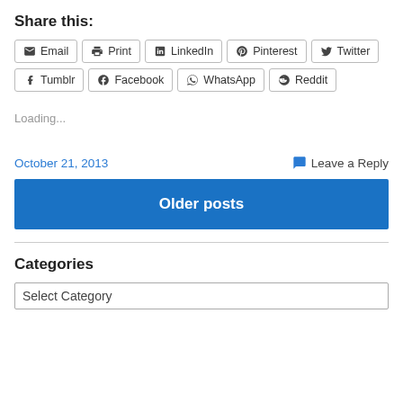Share this:
Email | Print | LinkedIn | Pinterest | Twitter
Tumblr | Facebook | WhatsApp | Reddit
Loading...
October 21, 2013    Leave a Reply
Older posts
Categories
Select Category